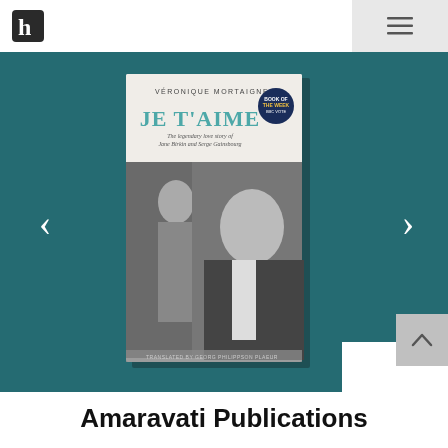[Figure (logo): Stylized 'h' logo mark in dark grey/black]
[Figure (photo): Book cover of 'JE T'AIME: The legendary love story of Jane Birkin and Serge Gainsbourg' by Véronique Mortaigne, showing a black-and-white photo of Jane Birkin and Serge Gainsbourg, with a 'Book of the Week' badge]
Amaravati Publications